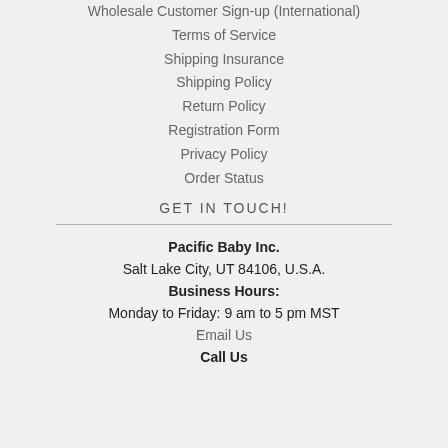Wholesale Customer Sign-up (International)
Terms of Service
Shipping Insurance
Shipping Policy
Return Policy
Registration Form
Privacy Policy
Order Status
GET IN TOUCH!
Pacific Baby Inc.
Salt Lake City, UT 84106, U.S.A.
Business Hours:
Monday to Friday: 9 am to 5 pm MST
Email Us
Call Us